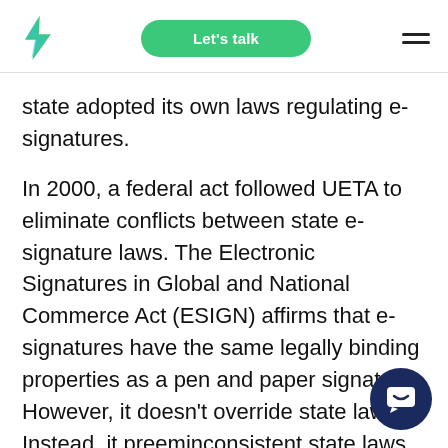Let's talk
state adopted its own laws regulating e-signatures.
In 2000, a federal act followed UETA to eliminate conflicts between state e-signature laws. The Electronic Signatures in Global and National Commerce Act (ESIGN) affirms that e-signatures have the same legally binding properties as a pen and paper signature. However, it doesn't override state laws. Instead, it preempts inconsistent state laws.